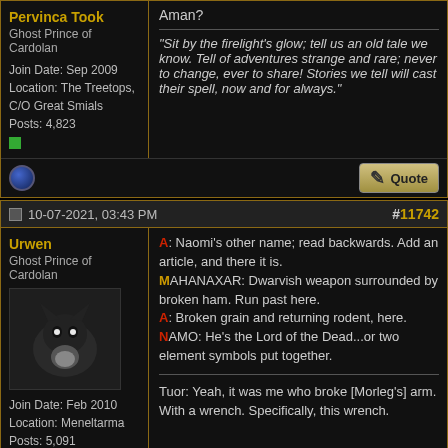Pervinca Took
Ghost Prince of Cardolan
Join Date: Sep 2009
Location: The Treetops, C/O Great Smials
Posts: 4,823
Aman?
"Sit by the firelight's glow; tell us an old tale we know. Tell of adventures strange and rare; never to change, ever to share! Stories we tell will cast their spell, now and for always."
10-07-2021, 03:43 PM
#11742
Urwen
Ghost Prince of Cardolan
Join Date: Feb 2010
Location: Meneltarma
Posts: 5,091
A: Naomi's other name; read backwards. Add an article, and there it is.
MAHANAXAR: Dwarvish weapon surrounded by broken ham. Run past here.
A: Broken grain and returning rodent, here.
NAMO: He's the Lord of the Dead...or two element symbols put together.
Tuor: Yeah, it was me who broke [Morleg's] arm. With a wrench. Specifically, this wrench.